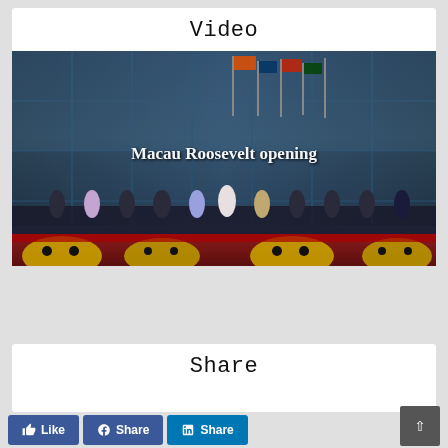Video
[Figure (photo): Photo of a group of formally dressed people standing in front of a glass building with flags, with lion dance costumes in the foreground. White text overlay reads 'Macau Roosevelt opening'.]
Share
Like | Share | Share (LinkedIn)